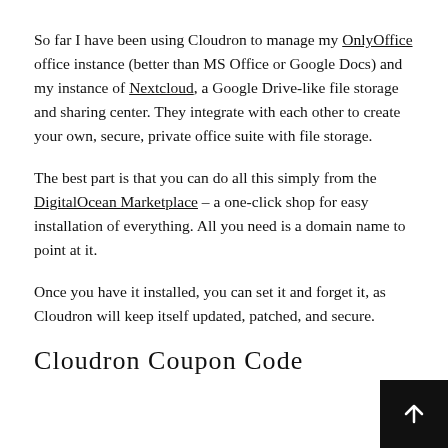So far I have been using Cloudron to manage my OnlyOffice office instance (better than MS Office or Google Docs) and my instance of Nextcloud, a Google Drive-like file storage and sharing center. They integrate with each other to create your own, secure, private office suite with file storage.
The best part is that you can do all this simply from the DigitalOcean Marketplace – a one-click shop for easy installation of everything. All you need is a domain name to point at it.
Once you have it installed, you can set it and forget it, as Cloudron will keep itself updated, patched, and secure.
Cloudron Coupon Code